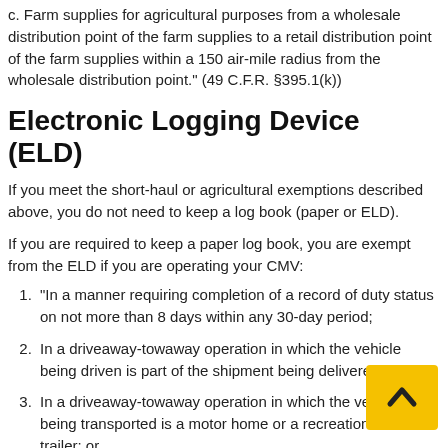c. Farm supplies for agricultural purposes from a wholesale distribution point of the farm supplies to a retail distribution point of the farm supplies within a 150 air-mile radius from the wholesale distribution point." (49 C.F.R. §395.1(k))
Electronic Logging Device (ELD)
If you meet the short-haul or agricultural exemptions described above, you do not need to keep a log book (paper or ELD).
If you are required to keep a paper log book, you are exempt from the ELD if you are operating your CMV:
“In a manner requiring completion of a record of duty status on not more than 8 days within any 30-day period;
In a driveaway-towaway operation in which the vehicle being driven is part of the shipment being delivered;
In a driveaway-towaway operation in which the vehicle being transported is a motor home or a recreation vehicle trailer; or
That was manufactured before model year 2000, as noted in the vehicle identification number as shown on the vehicle.